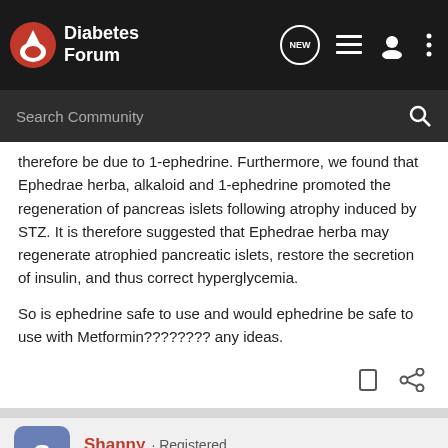Diabetes Forum
therefore be due to 1-ephedrine. Furthermore, we found that Ephedrae herba, alkaloid and 1-ephedrine promoted the regeneration of pancreas islets following atrophy induced by STZ. It is therefore suggested that Ephedrae herba may regenerate atrophied pancreatic islets, restore the secretion of insulin, and thus correct hyperglycemia.

So is ephedrine safe to use and would ephedrine be safe to use with Metformin???????? any ideas.
Shanny · Registered
Joined Dec 27, 2009 · 24,394 Posts